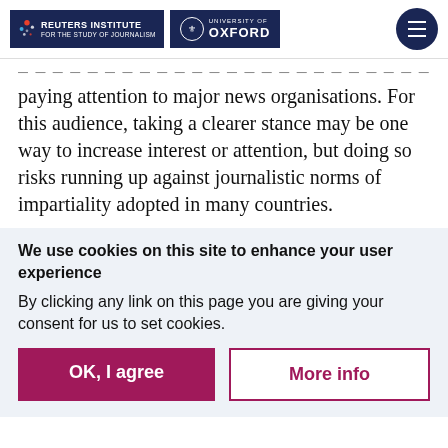Reuters Institute for the Study of Journalism | University of Oxford
paying attention to major news organisations. For this audience, taking a clearer stance may be one way to increase interest or attention, but doing so risks running up against journalistic norms of impartiality adopted in many countries.
We use cookies on this site to enhance your user experience
By clicking any link on this page you are giving your consent for us to set cookies.
OK, I agree
More info